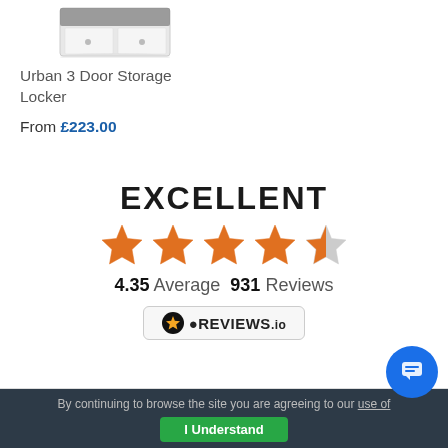[Figure (photo): Partial product image of a white storage locker/cabinet at the top]
Urban 3 Door Storage Locker
From £223.00
[Figure (infographic): EXCELLENT rating with 4.35 average out of 5 stars, 931 Reviews, REVIEWS.io badge]
Anonymous
By continuing to browse the site you are agreeing to our use of [cookies]